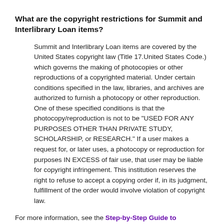What are the copyright restrictions for Summit and Interlibrary Loan items?
Summit and Interlibrary Loan items are covered by the United States copyright law (Title 17.United States Code.) which governs the making of photocopies or other reproductions of a copyrighted material. Under certain conditions specified in the law, libraries, and archives are authorized to furnish a photocopy or other reproduction. One of these specified conditions is that the photocopy/reproduction is not to be "USED FOR ANY PURPOSES OTHER THAN PRIVATE STUDY, SCHOLARSHIP, or RESEARCH." If a user makes a request for, or later uses, a photocopy or reproduction for purposes IN EXCESS of fair use, that user may be liable for copyright infringement. This institution reserves the right to refuse to accept a copying order if, in its judgment, fulfillment of the order would involve violation of copyright law.
For more information, see the Step-by-Step Guide to Copyright Compliance.